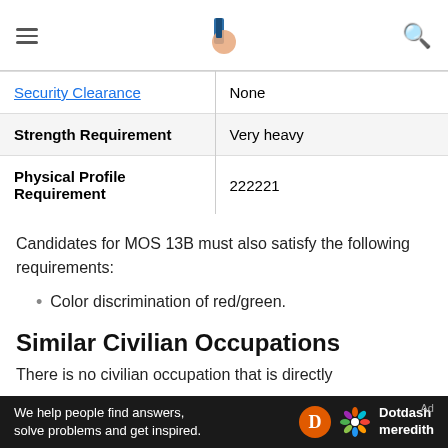Navigation header with hamburger menu, logo, and search icon
| Security Clearance | None |
| Strength Requirement | Very heavy |
| Physical Profile Requirement | 222221 |
Candidates for MOS 13B must also satisfy the following requirements:
Color discrimination of red/green.
Similar Civilian Occupations
There is no civilian occupation that is directly
Ad — We help people find answers, solve problems and get inspired. Dotdash meredith